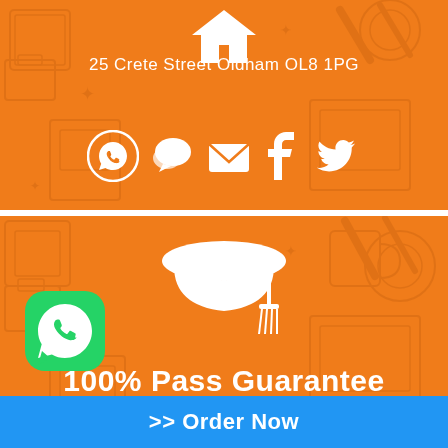[Figure (infographic): Orange banner with decorative pattern background, house/home icon at top, address text '25 Crete Street Oldham OL8 1PG', and social media icons (WhatsApp, chat, email, Facebook, Twitter) in white]
25 Crete Street Oldham OL8 1PG
[Figure (infographic): Orange banner with decorative pattern background, graduation cap icon, WhatsApp green button overlay, '100% Pass Guarantee' text, and blue 'Order Now' button at bottom]
100% Pass Guarantee
>> Order Now